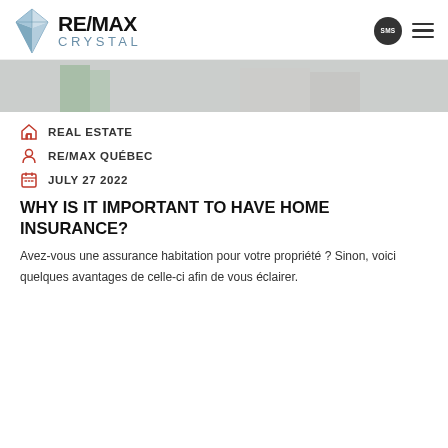RE/MAX CRYSTAL
[Figure (photo): Blurred interior room photo showing green and grey tones, used as hero banner]
REAL ESTATE
RE/MAX QUÉBEC
JULY 27 2022
WHY IS IT IMPORTANT TO HAVE HOME INSURANCE?
Avez-vous une assurance habitation pour votre propriété ? Sinon, voici quelques avantages de celle-ci afin de vous éclairer.